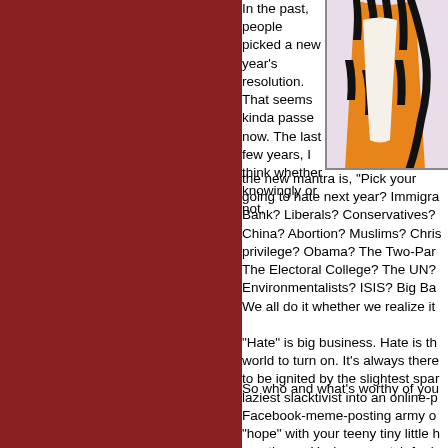[Figure (illustration): Partial illustration of a cartoon tiger character (Calvin and Hobbes style), showing striped orange and black body, cropped to show torso area on a light pink/white background]
In the past, people picked a new year's resolution. That seems kinda passe now. The last few years, I think whether knowingly or not, the new mantra is, "Pick your going to hate next year? Immigrants? Bank? Liberals? Conservatives? China? Abortion? Muslims? Christians privilege? Obama? The Two-Party The Electoral College? The UN? Environmentalists? ISIS? Big Ba We all do it whether we realize it
"Hate" is big business. Hate is th world to turn on. It's always there to be ignited by the slightest spar laziest slacktivist into an online-p Facebook-meme-posting army o "hope" with your teeny tiny little h emoticons. You're no match for h
So who and what's worthy of you